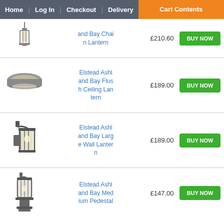Home | Log In | Checkout | Delivery | Cart Contents
[Figure (photo): Pendant chain lantern product image (partial view at top)]
and Bay Chain Lantern
£210.60
BUY NOW
[Figure (photo): Elstead Ashland Bay Flush Ceiling Lantern product image]
Elstead Ashland Bay Flush Ceiling Lantern
£189.00
BUY NOW
[Figure (photo): Elstead Ashland Bay Large Wall Lantern product image]
Elstead Ashland Bay Large Wall Lantern
£189.00
BUY NOW
[Figure (photo): Elstead Ashland Bay Medium Pedestal product image]
Elstead Ashland Bay Medium Pedestal
£147.00
BUY NOW